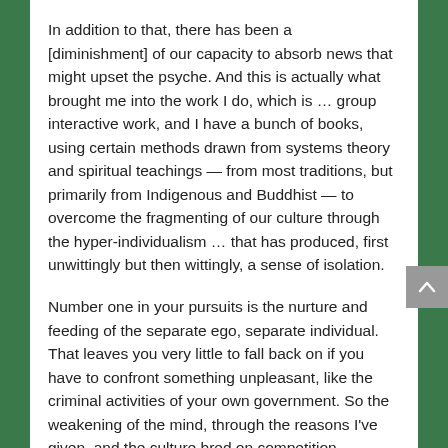In addition to that, there has been a [diminishment] of our capacity to absorb news that might upset the psyche. And this is actually what brought me into the work I do, which is … group interactive work, and I have a bunch of books, using certain methods drawn from systems theory and spiritual teachings — from most traditions, but primarily from Indigenous and Buddhist — to overcome the fragmenting of our culture through the hyper-individualism … that has produced, first unwittingly but then wittingly, a sense of isolation.
Number one in your pursuits is the nurture and feeding of the separate ego, separate individual. That leaves you very little to fall back on if you have to confront something unpleasant, like the criminal activities of your own government. So the weakening of the mind, through the reasons I've given, and the culture bred on competition, command and control